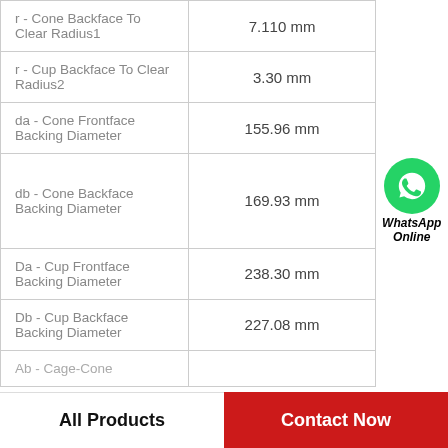| Parameter | Value |  |
| --- | --- | --- |
| r - Cone Backface To Clear Radius1 | 7.110 mm |  |
| r - Cup Backface To Clear Radius2 | 3.30 mm |  |
| da - Cone Frontface Backing Diameter | 155.96 mm |  |
| db - Cone Backface Backing Diameter | 169.93 mm | WhatsApp Online |
| Da - Cup Frontface Backing Diameter | 238.30 mm |  |
| Db - Cup Backface Backing Diameter | 227.08 mm |  |
| Ab - Cage-Cone |  |  |
All Products    Contact Now